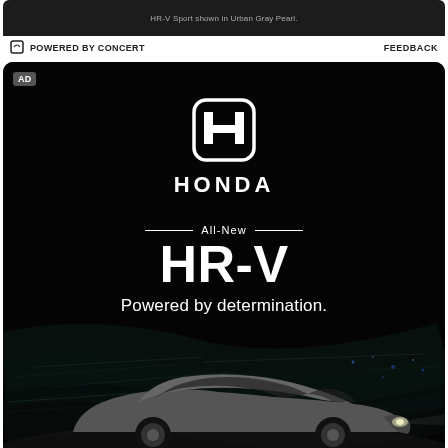HR-V Sport shown in Urban Gray Pearl.
POWERED BY CONCERT
FEEDBACK
[Figure (photo): Honda HR-V advertisement on black background. Honda logo (H in rounded square) with HONDA wordmark, 'All-New' with decorative lines, 'HR-V' in large bold text, 'Powered by determination.' tagline, and a silver Honda HR-V car driving at night with light streaks in background.]